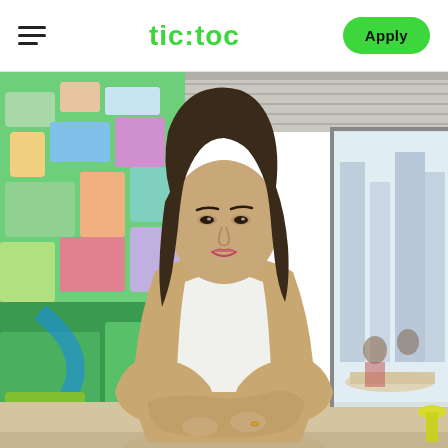tic:toc — Apply
[Figure (photo): Professional woman with long dark hair wearing a beige blazer and white top, arms crossed, standing in a modern office with colorful mural on the left and city view on the right. Tic:toc brand website screenshot.]